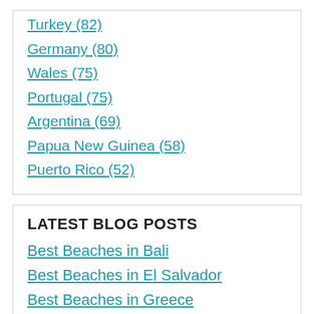Turkey (82)
Germany (80)
Wales (75)
Portugal (75)
Argentina (69)
Papua New Guinea (58)
Puerto Rico (52)
LATEST BLOG POSTS
Best Beaches in Bali
Best Beaches in El Salvador
Best Beaches in Greece
Best Beaches in Antigua & Barbuda
11 Best Beaches in Bangladesh
Best Beaches in Bangladesh